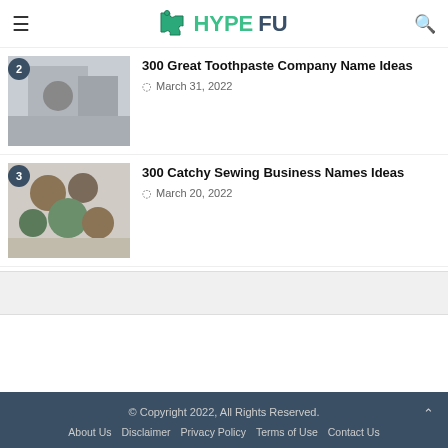HYPE FU
2 — 300 Great Toothpaste Company Name Ideas — March 31, 2022
3 — 300 Catchy Sewing Business Names Ideas — March 20, 2022
© Copyright 2022, All Rights Reserved. | About Us | Disclaimer | Privacy Policy | Terms of Use | Contact Us